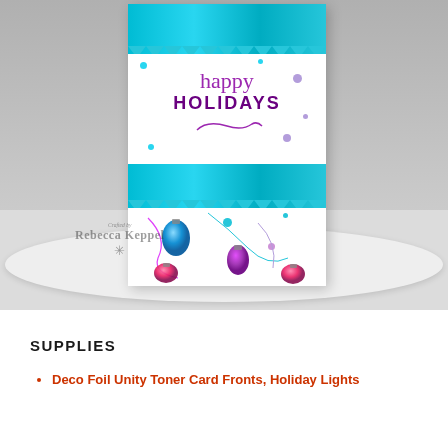[Figure (photo): A holiday greeting card featuring 'happy HOLIDAYS' text in purple script, teal/blue glitter bands with zigzag edges, and colorful holographic Christmas light bulb decorations. Card is placed in a white dish on a white surface. Watermark reads 'Crafted by Rebecca Keppel'.]
SUPPLIES
Deco Foil Unity Toner Card Fronts, Holiday Lights